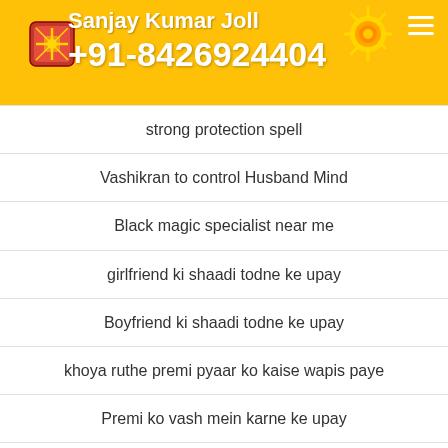Sanjay Kumar Joll +91-8426924404
strong protection spell
Vashikran to control Husband Mind
Black magic specialist near me
girlfriend ki shaadi todne ke upay
Boyfriend ki shaadi todne ke upay
khoya ruthe premi pyaar ko kaise wapis paye
Premi ko vash mein karne ke upay